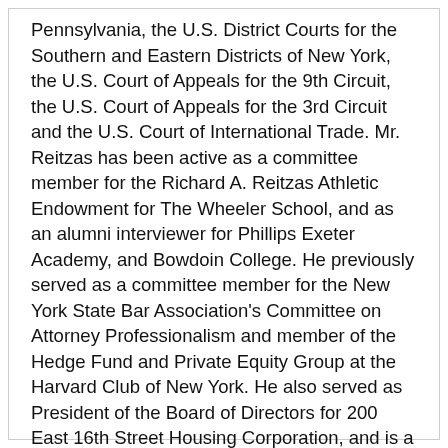Pennsylvania, the U.S. District Courts for the Southern and Eastern Districts of New York, the U.S. Court of Appeals for the 9th Circuit, the U.S. Court of Appeals for the 3rd Circuit and the U.S. Court of International Trade. Mr. Reitzas has been active as a committee member for the Richard A. Reitzas Athletic Endowment for The Wheeler School, and as an alumni interviewer for Phillips Exeter Academy, and Bowdoin College. He previously served as a committee member for the New York State Bar Association's Committee on Attorney Professionalism and member of the Hedge Fund and Private Equity Group at the Harvard Club of New York. He also served as President of the Board of Directors for 200 East 16th Street Housing Corporation, and is a principal of Harkness Advisors, LLC.